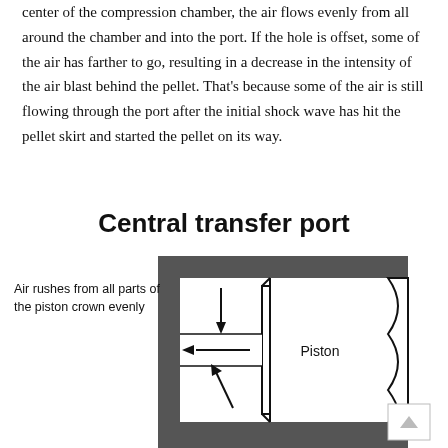center of the compression chamber, the air flows evenly from all around the chamber and into the port. If the hole is offset, some of the air has farther to go, resulting in a decrease in the intensity of the air blast behind the pellet. That's because some of the air is still flowing through the port after the initial shock wave has hit the pellet skirt and started the pellet on its way.
Central transfer port
[Figure (engineering-diagram): Cross-sectional diagram showing a central transfer port. The piston is shown on the right side with a flat face. Air flow arrows indicate air rushing from all parts of the piston crown evenly through the central port. Three arrows point toward the center port opening: one from above, one horizontally to the left, and one from below. The barrel/chamber walls are shown with hatching at top and bottom. A label reads 'Piston' inside the piston body. Caption text on the left reads 'Air rushes from all parts of the piston crown evenly'.]